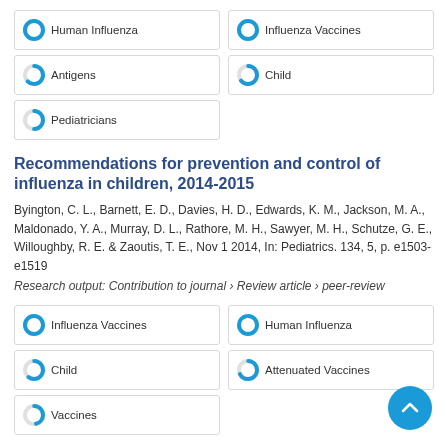Human Influenza
Influenza Vaccines
Antigens
Child
Pediatricians
Recommendations for prevention and control of influenza in children, 2014-2015
Byington, C. L., Barnett, E. D., Davies, H. D., Edwards, K. M., Jackson, M. A., Maldonado, Y. A., Murray, D. L., Rathore, M. H., Sawyer, M. H., Schutze, G. E., Willoughby, R. E. & Zaoutis, T. E., Nov 1 2014, In: Pediatrics. 134, 5, p. e1503-e1519
Research output: Contribution to journal › Review article › peer-review
Influenza Vaccines
Human Influenza
Child
Attenuated Vaccines
Vaccines